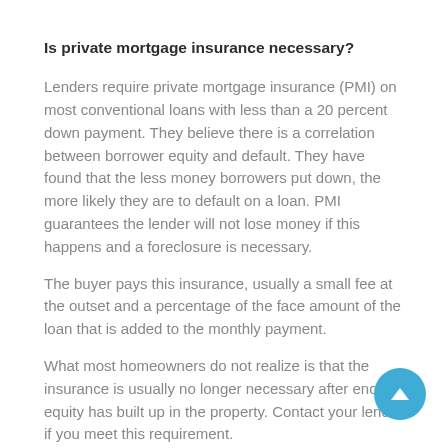Is private mortgage insurance necessary?
Lenders require private mortgage insurance (PMI) on most conventional loans with less than a 20 percent down payment. They believe there is a correlation between borrower equity and default. They have found that the less money borrowers put down, the more likely they are to default on a loan. PMI guarantees the lender will not lose money if this happens and a foreclosure is necessary.
The buyer pays this insurance, usually a small fee at the outset and a percentage of the face amount of the loan that is added to the monthly payment.
What most homeowners do not realize is that the insurance is usually no longer necessary after enough equity has built up in the property. Contact your lender if you meet this requirement.